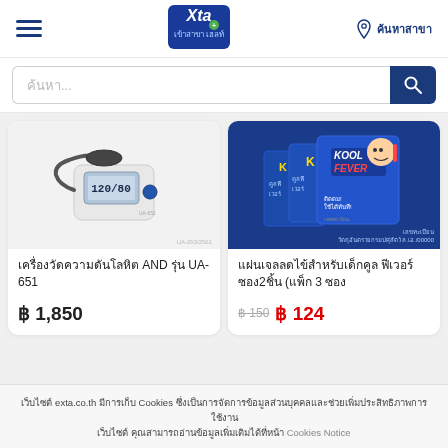[Figure (logo): Xta Plus pharmacy logo in blue square with white text]
ค้นหาสาขา
ค้นหา...
[Figure (photo): AND UA-651 blood pressure monitor device on white background]
เครื่องวัดความดันโลหิต AND รุ่น UA-651
฿ 1,850
[Figure (photo): Kool Fever cooling gel pads for children on blue package background]
แผ่นเจลลดไข้สำหรับเด็กคูล ฟีเวอร์ ซอง2ชิ้น (แพ็ก 3 ซอง
฿ 150 ฿ 124
เว็บไซต์ exta.co.th มีการเก็บ Cookies ซึ่งเป็นการจัดการข้อมูลส่วนบุคคลและช่วยเพิ่มประสิทธิภาพการใช้งาน เว็บไซต์ คุณสามารถอ่านข้อมูลเพิ่มเติมได้ที่หน้า Cookies Notice